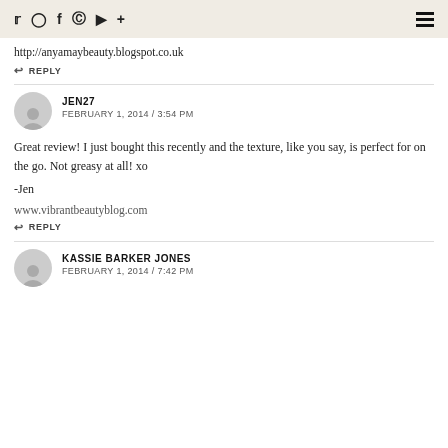Social icons bar with hamburger menu
http://anyamaybeauty.blogspot.co.uk
REPLY
JEN27
FEBRUARY 1, 2014 / 3:54 PM
Great review! I just bought this recently and the texture, like you say, is perfect for on the go. Not greasy at all! xo

-Jen

www.vibrantbeautyblog.com
REPLY
KASSIE BARKER JONES
FEBRUARY 1, 2014 / 7:42 PM